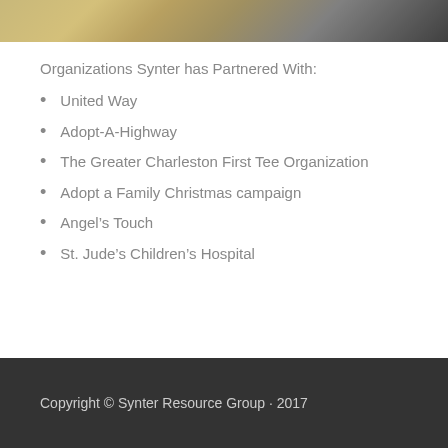[Figure (photo): Partial photo strip at top of page showing people, cropped at top]
Organizations Synter has Partnered With:
United Way
Adopt-A-Highway
The Greater Charleston First Tee Organization
Adopt a Family Christmas campaign
Angel’s Touch
St. Jude’s Children’s Hospital
Copyright © Synter Resource Group · 2017